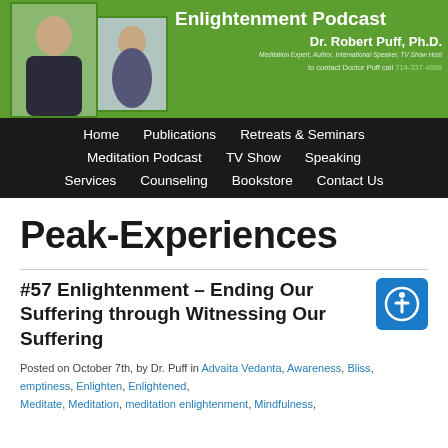[Figure (photo): Enlightenment Podcast banner with Dr. Robert Puff Ph.D. photos and green background. Shows two photos of the doctor and text: Enlightenment Podcast, Dr. Robert Puff Ph.D., Meditation Expert, Author, International Speaker, TV Show Host. Contact info: to contact Doctor Puff call 714-337-4889]
Home | Publications | Retreats & Seminars | Meditation Podcast | TV Show | Speaking | Services | Counseling | Bookstore | Contact Us
Peak-Experiences
#57 Enlightenment – Ending Our Suffering through Witnessing Our Suffering
Posted on October 7th, by Dr. Puff in Advaita Vedanta, Awareness, Bliss, emptiness, Enlighten, Enlightened, Meditate, Meditation, meditation enlightenment, Mindfulness,